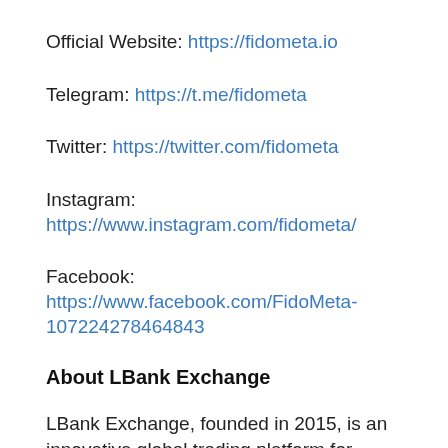Official Website: https://fidometa.io
Telegram: https://t.me/fidometa
Twitter: https://twitter.com/fidometa
Instagram: https://www.instagram.com/fidometa/
Facebook: https://www.facebook.com/FidoMeta-107224278464843
About LBank Exchange
LBank Exchange, founded in 2015, is an innovative global trading platform for various crypto assets. LBank Exchange provides its users with safe crypto trading, specialized financial derivatives, and professional asset